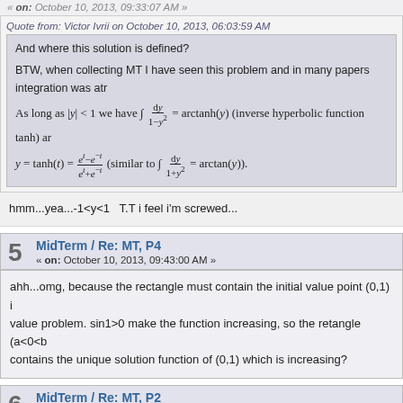« on: October 10, 2013, 09:33:07 AM »
Quote from: Victor Ivrii on October 10, 2013, 06:03:59 AM
And where this solution is defined?
BTW, when collecting MT I have seen this problem and in many papers integration was atr
hmm...yea...-1<y<1  T.T i feel i'm screwed...
5  MidTerm / Re: MT, P4
« on: October 10, 2013, 09:43:00 AM »
ahh...omg, because the rectangle must contain the initial value point (0,1) i... value problem. sin1>0 make the function increasing, so the retangle (a<0<b... contains the unique solution function of (0,1) which is increasing?
6  MidTerm / Re: MT, P2
« on: October 10, 2013, 09:27:59 AM »